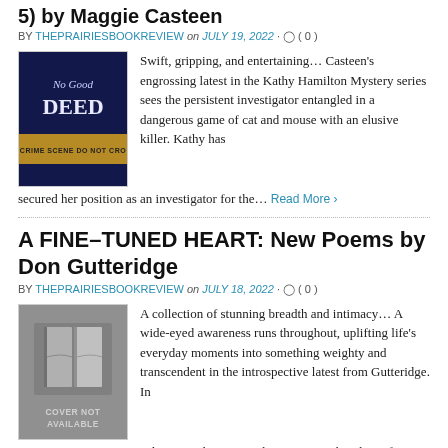5) by Maggie Casteen
BY THEPRAIRIESBOOKREVIEW on JULY 19, 2022 · ( 0 )
[Figure (photo): Book cover for a crime/mystery novel showing 'DEED' text with crime scene tape on dark background]
Swift, gripping, and entertaining… Casteen's engrossing latest in the Kathy Hamilton Mystery series sees the persistent investigator entangled in a dangerous game of cat and mouse with an elusive killer. Kathy has secured her position as an investigator for the… Read More ›
A FINE-TUNED HEART: New Poems by Don Gutteridge
BY THEPRAIRIESBOOKREVIEW on JULY 18, 2022 · ( 0 )
[Figure (photo): Gray placeholder image with book icon and text 'COVER NOT AVAILABLE']
A collection of stunning breadth and intimacy… A wide-eyed awareness runs throughout, uplifting life's everyday moments into something weighty and transcendent in the introspective latest from Gutteridge. In "SYMPHONIC," Gutteridge trains his eye on the retreating shoreline of a life:… Read More ›